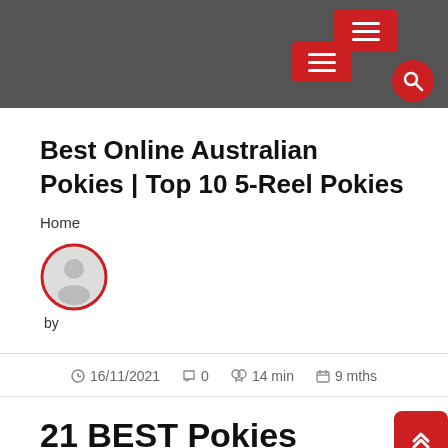Navigation header with hamburger menus and search button
Best Online Australian Pokies | Top 10 5-Reel Pokies
Home
[Figure (illustration): Circular user avatar placeholder icon with red border]
by
16/11/2021   0   14 min   9 mths
21 BEST Pokies Venues in Brighton, SA